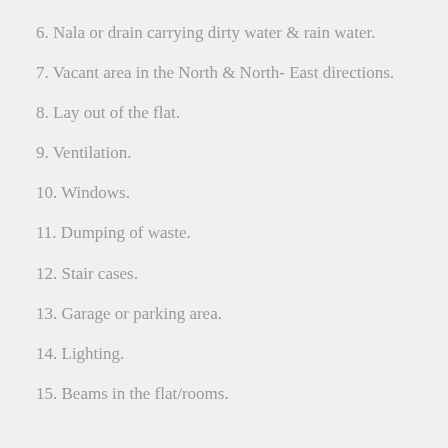6. Nala or drain carrying dirty water & rain water.
7. Vacant area in the North & North- East directions.
8. Lay out of the flat.
9. Ventilation.
10. Windows.
11. Dumping of waste.
12. Stair cases.
13. Garage or parking area.
14. Lighting.
15. Beams in the flat/rooms.